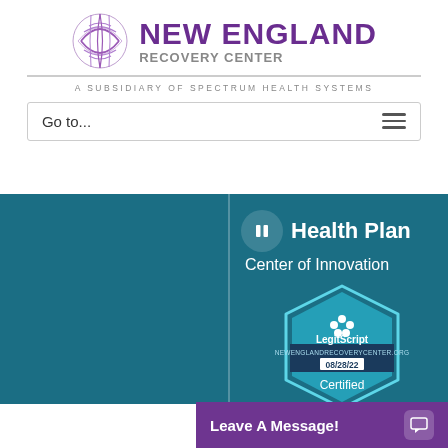[Figure (logo): New England Recovery Center logo with purple globe/sphere icon and purple text, with subtitle 'A Subsidiary of Spectrum Health Systems']
Go to...
[Figure (infographic): Teal background section with vertical divider. Right side shows Health Plan Center of Innovation with pause icon and LegitScript certification badge (newenglandrecoverycenter.org, 08/28/22, Certified)]
Leave A Message!